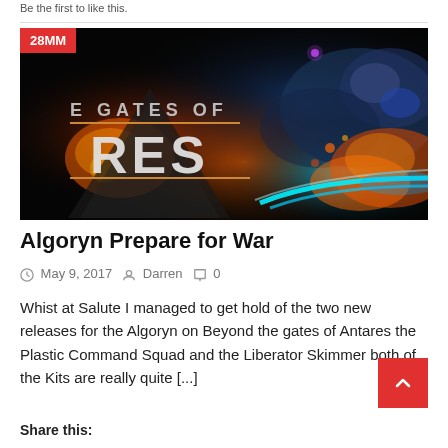Be the first to like this.
[Figure (illustration): Blog post thumbnail for 'Algoryn Prepare for War' — dark sci-fi banner image with text 'The Gates of Ares' and an alien/space battle scene with fire, explosions, and blue energy beams. A red badge in top-left reads '28MM'.]
Algoryn Prepare for War
May 9, 2017   Darren   0
Whist at Salute I managed to get hold of the two new releases for the Algoryn on Beyond the gates of Antares the Plastic Command Squad and the Liberator Skimmer both of the Kits are really quite [...]
Share this: